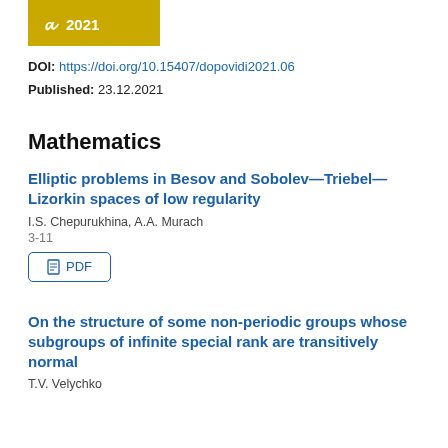[Figure (other): Journal cover image — gold/yellow colored banner with logo icon and year 2021]
DOI: https://doi.org/10.15407/dopovidi2021.06
Published: 23.12.2021
Mathematics
Elliptic problems in Besov and Sobolev—Triebel—Lizorkin spaces of low regularity
I.S. Chepurukhina, A.A. Murach
3-11
PDF
On the structure of some non-periodic groups whose subgroups of infinite special rank are transitively normal
T.V. Velychko